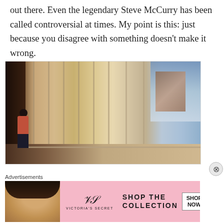out there. Even the legendary Steve McCurry has been called controversial at times. My point is this: just because you disagree with something doesn't make it wrong.
[Figure (photo): A person in a red/coral hoodie and black pants walking through a corridor or hallway with tall vertical windows and pillars, casting dramatic shadows. The exterior shows a cloudy sky and buildings reflected in the large glass windows.]
Advertisements
[Figure (photo): Victoria's Secret advertisement banner. Pink background with a photo of a woman on the left, Victoria's Secret logo in the center, and text 'SHOP THE COLLECTION' with a 'SHOP NOW' button on the right.]